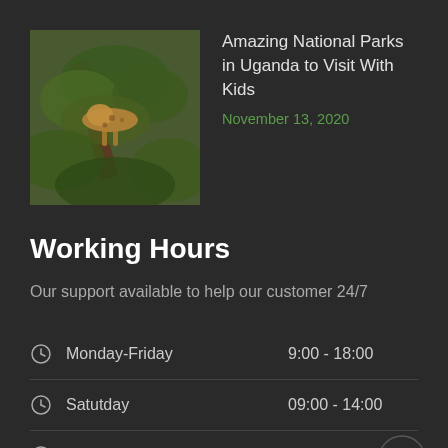[Figure (photo): Photo of a leopard or big cat resting in a tree with green foliage in background]
Amazing National Parks in Uganda to Visit With Kids
November 13, 2020
Working Hours
Our support available to help our customer 24/7
| Day | Hours |
| --- | --- |
| Monday-Friday | 9:00 - 18:00 |
| Satutday | 09:00 - 14:00 |
| Sunday | Closed |